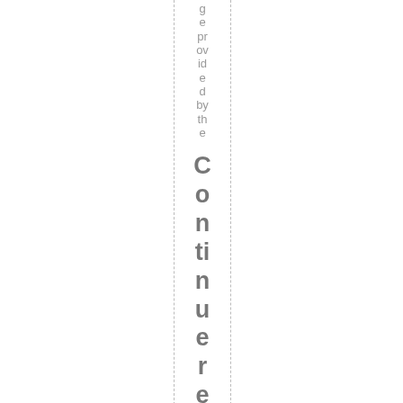ge provided by the Continued reading Art d